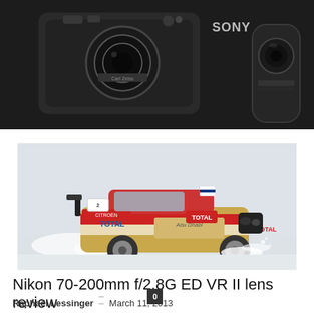[Figure (photo): Sony camera and lens accessories on dark background — hero banner image]
Sony RX100 review
Raphaël Lessinger – March 18, 2013
[Figure (photo): Rally car (Citroën DS3 WRC with Total and Abu Dhabi livery) racing on snow, action shot]
Nikon 70-200mm f/2.8G ED VR II lens review
Raphaël Lessinger – March 11, 2013